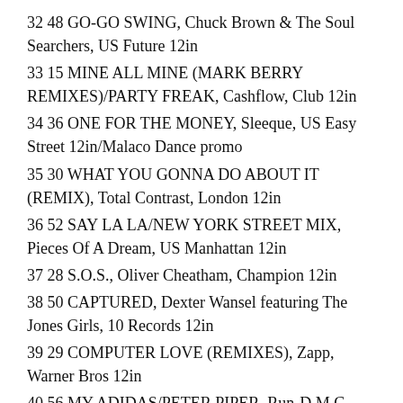32 48 GO-GO SWING, Chuck Brown & The Soul Searchers, US Future 12in
33 15 MINE ALL MINE (MARK BERRY REMIXES)/PARTY FREAK, Cashflow, Club 12in
34 36 ONE FOR THE MONEY, Sleeque, US Easy Street 12in/Malaco Dance promo
35 30 WHAT YOU GONNA DO ABOUT IT (REMIX), Total Contrast, London 12in
36 52 SAY LA LA/NEW YORK STREET MIX, Pieces Of A Dream, US Manhattan 12in
37 28 S.O.S., Oliver Cheatham, Champion 12in
38 50 CAPTURED, Dexter Wansel featuring The Jones Girls, 10 Records 12in
39 29 COMPUTER LOVE (REMIXES), Zapp, Warner Bros 12in
40 56 MY ADIDAS/PETER PIPER, Run-D.M.C.,